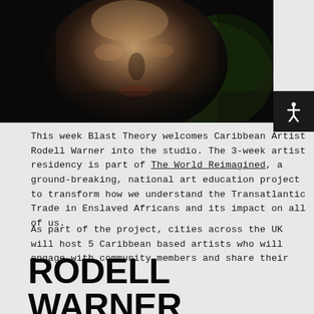[Figure (photo): Close-up portrait photo of a young Black man looking upward, with blurred green foliage in the background. The image is dark and moody.]
This week Blast Theory welcomes Caribbean Artist Rodell Warner into the studio. The 3-week artist residency is part of The World Reimagined, a ground-breaking, national art education project to transform how we understand the Transatlantic Trade in Enslaved Africans and its impact on all of us.
As part of the project, cities across the UK will host 5 Caribbean based artists who will engage with community members and share their own perspective and artistic experience on working on The World Reimagined and the transformative power of art. Each artist brings with them a rich and powerful narrative – helping nurture meaningful exchange and the layered nature of history and themes of memory, their art is a thing of beauty and inspiration.
RODELL WARNER